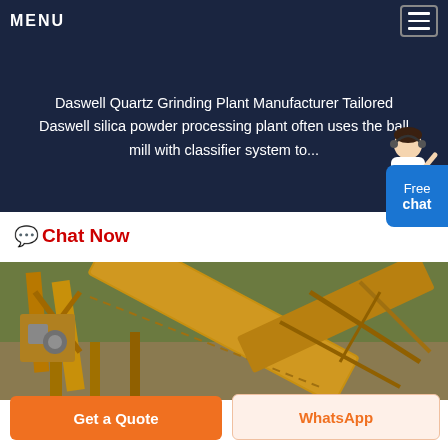MENU
Daswell Quartz Grinding Plant Manufacturer Tailored Daswell silica powder processing plant often uses the ball mill with classifier system to...
Chat Now
[Figure (photo): Yellow industrial conveyor/screening machinery on a construction/mining site with green hillside in background]
Get a Quote
WhatsApp